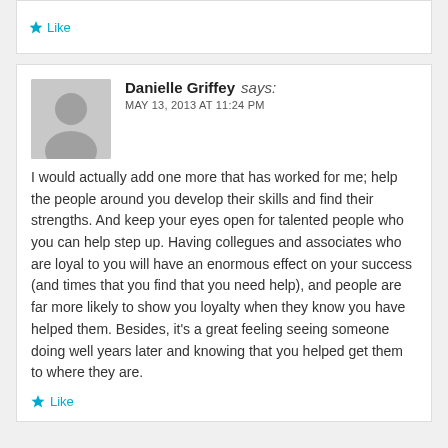Like
Danielle Griffey says:
MAY 13, 2013 AT 11:24 PM
I would actually add one more that has worked for me; help the people around you develop their skills and find their strengths. And keep your eyes open for talented people who you can help step up. Having collegues and associates who are loyal to you will have an enormous effect on your success (and times that you find that you need help), and people are far more likely to show you loyalty when they know you have helped them. Besides, it's a great feeling seeing someone doing well years later and knowing that you helped get them to where they are.
Like